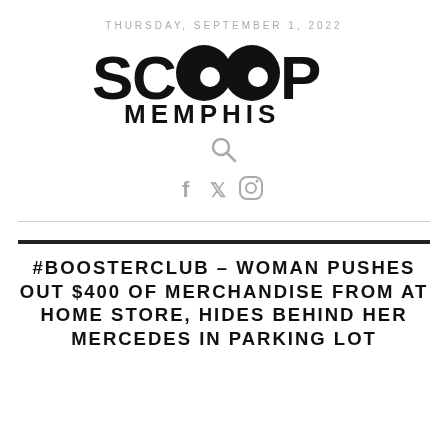THURSDAY, SEPTEMBER 1, 2022
[Figure (logo): Scoop Memphis logo with two quotation-mark circles replacing the two O letters in SCOOP, and MEMPHIS in bold uppercase below]
[Figure (other): Search magnifier icon]
[Figure (other): Social media icons: Facebook, Twitter, Instagram]
#BOOSTERCLUB – WOMAN PUSHES OUT $400 OF MERCHANDISE FROM AT HOME STORE, HIDES BEHIND HER MERCEDES IN PARKING LOT